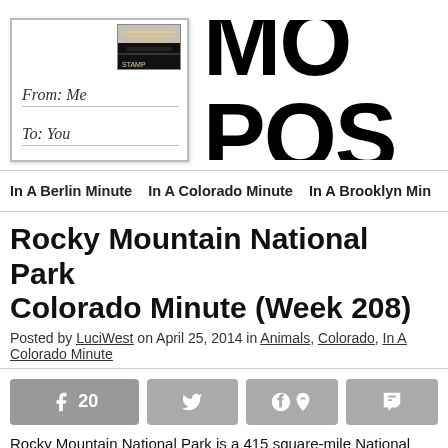[Figure (illustration): Postcard logo image with 'From: Me To: You' handwritten text and a stamp area with a dark landscape image]
MO POS
In A Berlin Minute   In A Colorado Minute   In A Brooklyn Min
Rocky Mountain National Park Colorado Minute (Week 208)
Posted by LuciWest on April 25, 2014 in Animals, Colorado, In A Colorado Minute
[Figure (infographic): Social sharing buttons: Facebook (20 shares), Twitter, Pinterest, Tumblr]
Rocky Mountain National Park is a 415 square-mile National Park in Northe